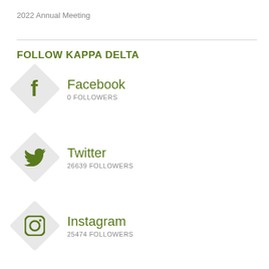2022 Annual Meeting
FOLLOW KAPPA DELTA
Facebook
0 FOLLOWERS
Twitter
26639 FOLLOWERS
Instagram
25474 FOLLOWERS